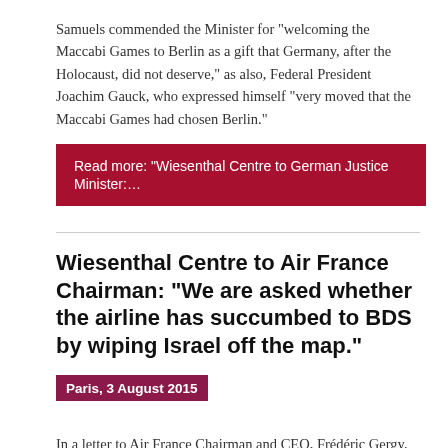Samuels commended the Minister for “welcoming the Maccabi Games to Berlin as a gift that Germany, after the Holocaust, did not deserve,” as also, Federal President Joachim Gauck, who expressed himself “very moved that the Maccabi Games had chosen Berlin.”
Read more: “Wiesenthal Centre to German Justice Minister:…
Wiesenthal Centre to Air France Chairman: “We are asked whether the airline has succumbed to BDS by wiping Israel off the map.”
Paris, 3 August 2015
In a letter to Air France Chairman and CEO, Frédéric Gergy, the Simon Wiesenthal Centre Director for International Relations, Dr. Shimon Samuels, noted that, “French members of our Centre have sent us, reportedly captured shots from English and French language of an Air France